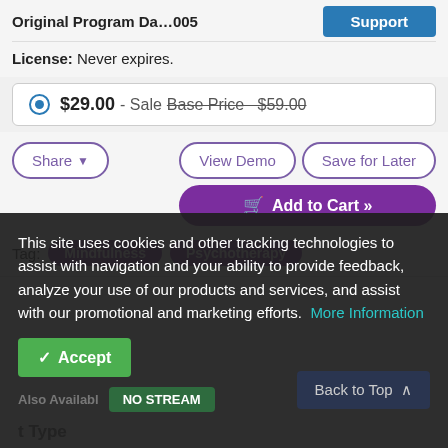Original Program Da...005
License: Never expires.
$29.00 - Sale Base Price $59.00
Share
View Demo
Save for Later
Add to Cart »
Tag: Mindfulness Psychotherapy
This site uses cookies and other tracking technologies to assist with navigation and your ability to provide feedback, analyze your use of our products and services, and assist with our promotional and marketing efforts. More Information
Accept
NO STREAM
Back to Top
t Type